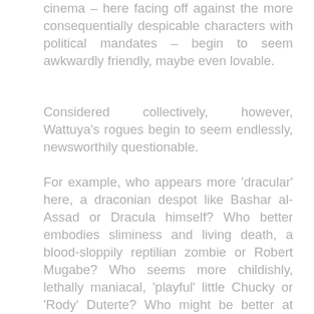cinema – here facing off against the more consequentially despicable characters with political mandates – begin to seem awkwardly friendly, maybe even lovable.
Considered collectively, however, Wattuya's rogues begin to seem endlessly, newsworthily questionable.
For example, who appears more 'dracular' here, a draconian despot like Bashar al-Assad or Dracula himself? Who better embodies sliminess and living death, a blood-sloppily reptilian zombie or Robert Mugabe? Who seems more childishly, lethally maniacal, 'playful' little Chucky or 'Rody' Duterte? Who might be better at encouraging local populations or entire geographical regions to hide in fear or flee: King Kong, Frankenstein's Monster,